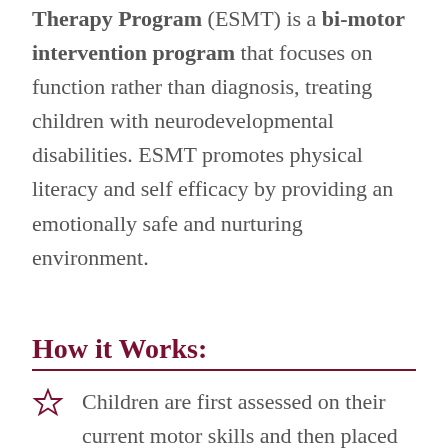Therapy Program (ESMT) is a bi-motor intervention program that focuses on function rather than diagnosis, treating children with neurodevelopmental disabilities. ESMT promotes physical literacy and self efficacy by providing an emotionally safe and nurturing environment.
How it Works:
Children are first assessed on their current motor skills and then placed in one of our 10 stages of motor development